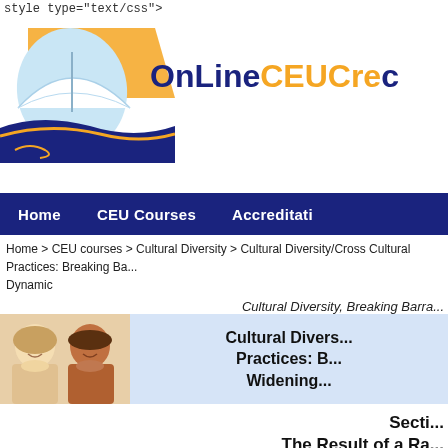style type="text/css">
[Figure (logo): OnLineCEUCredit logo with open book graphic and blue/orange text]
Home | CEU Courses | Accreditation
Home > CEU courses > Cultural Diversity > Cultural Diversity/Cross Cultural Practices: Breaking Ba... Dynamic
Cultural Diversity, Breaking Barra...
[Figure (photo): Two women of different ethnicities smiling, next to course title banner]
Section: The Result of a Ra...
CEU Question 22 | CE T...
Counselor CEUs, Psychologist CEs...
Environmental racism is not science, but the result of a power dynamic. The dyna... occurs when people who have power in a society choose not to have environmen... environmental inequity becomes environmental injustice when environmental h...